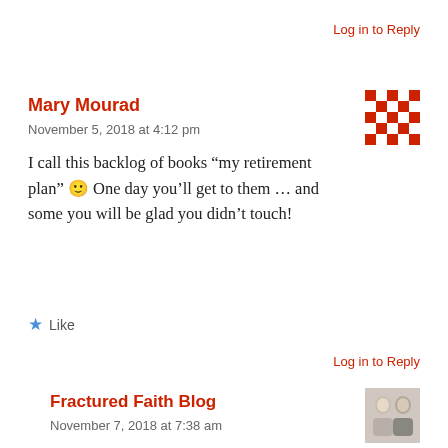Log in to Reply
Mary Mourad
November 5, 2018 at 4:12 pm
[Figure (other): Pixelated red and white avatar/identicon image]
I call this backlog of books “my retirement plan” 🙂 One day you’ll get to them … and some you will be glad you didn’t touch!
★ Like
Log in to Reply
Fractured Faith Blog
November 7, 2018 at 7:38 am
[Figure (photo): Small photo of two people (man and woman)]